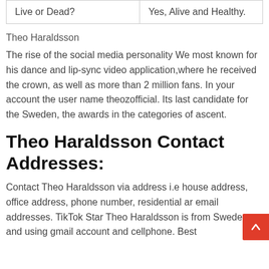| Live or Dead? | Yes, Alive and Healthy. |
Theo Haraldsson
The rise of the social media personality We most known for his dance and lip-sync video application,where he received the crown, as well as more than 2 million fans. In your account the user name theozofficial. Its last candidate for the Sweden, the awards in the categories of ascent.
Theo Haraldsson Contact Addresses:
Contact Theo Haraldsson via address i.e house address, office address, phone number, residential ar email addresses. TikTok Star Theo Haraldsson is from Sweden and using gmail account and cellphone. Best